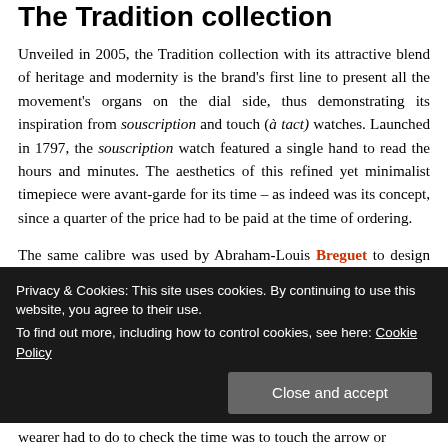The Tradition collection
Unveiled in 2005, the Tradition collection with its attractive blend of heritage and modernity is the brand’s first line to present all the movement’s organs on the dial side, thus demonstrating its inspiration from souscription and touch (à tact) watches. Launched in 1797, the souscription watch featured a single hand to read the hours and minutes. The aesthetics of this refined yet minimalist timepiece were avant-garde for its time – as indeed was its concept, since a quarter of the price had to be paid at the time of ordering.
The same calibre was used by Abraham-Louis Breguet to design the first touch (à tact) watches presented a year later at
Privacy & Cookies: This site uses cookies. By continuing to use this website, you agree to their use.
To find out more, including how to control cookies, see here: Cookie Policy
wearer had to do to check the time was to touch the arrow or